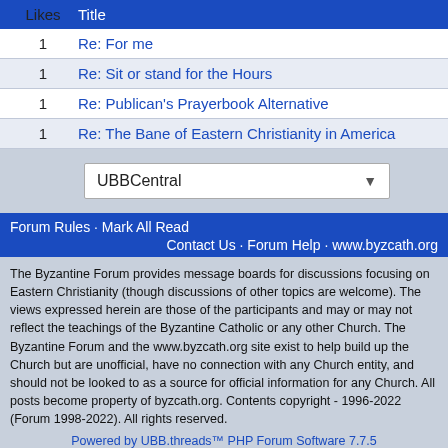| Likes | Title |
| --- | --- |
| 1 | Re: For me |
| 1 | Re: Sit or stand for the Hours |
| 1 | Re: Publican's Prayerbook Alternative |
| 1 | Re: The Bane of Eastern Christianity in America |
UBBCentral (dropdown)
Forum Rules · Mark All Read · Contact Us · Forum Help · www.byzcath.org
The Byzantine Forum provides message boards for discussions focusing on Eastern Christianity (though discussions of other topics are welcome). The views expressed herein are those of the participants and may or may not reflect the teachings of the Byzantine Catholic or any other Church. The Byzantine Forum and the www.byzcath.org site exist to help build up the Church but are unofficial, have no connection with any Church entity, and should not be looked to as a source for official information for any Church. All posts become property of byzcath.org. Contents copyright - 1996-2022 (Forum 1998-2022). All rights reserved.
Powered by UBB.threads™ PHP Forum Software 7.7.5